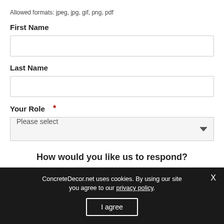Allowed formats: jpeg, jpg, gif, png, pdf
First Name
[First Name input field]
Last Name
[Last Name input field]
Your Role  *
[Please select dropdown]
How would you like us to respond?
ConcreteDecor.net uses cookies. By using our site you agree to our privacy policy.
I agree